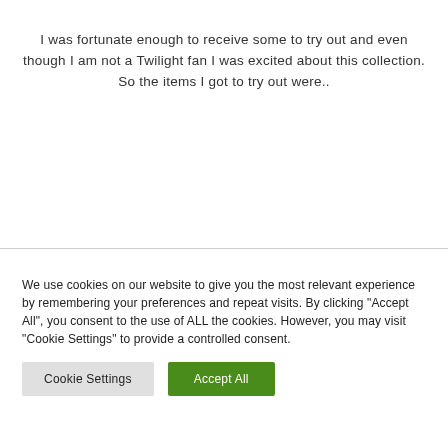I was fortunate enough to receive some to try out and even though I am not a Twilight fan I was excited about this collection.
So the items I got to try out were..
We use cookies on our website to give you the most relevant experience by remembering your preferences and repeat visits. By clicking "Accept All", you consent to the use of ALL the cookies. However, you may visit "Cookie Settings" to provide a controlled consent.